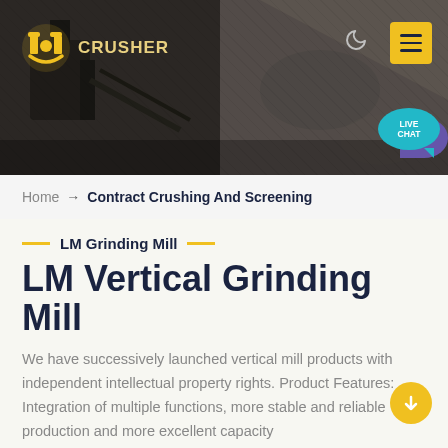[Figure (photo): Mining/crushing site header image with heavy machinery and rock face, dark industrial background with logo overlay]
Home → Contract Crushing And Screening
LM Grinding Mill
LM Vertical Grinding Mill
We have successively launched vertical mill products with independent intellectual property rights. Product Features: Integration of multiple functions, more stable and reliable production and more excellent capacity